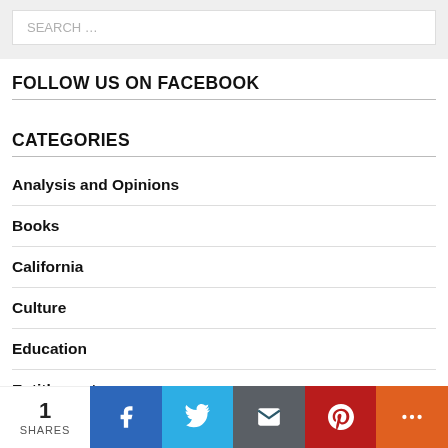SEARCH …
FOLLOW US ON FACEBOOK
CATEGORIES
Analysis and Opinions
Books
California
Culture
Education
Entitlements
1 SHARES